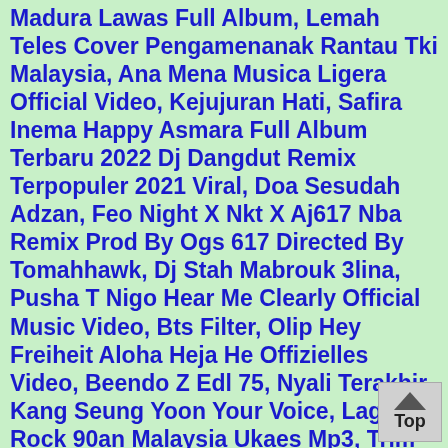Madura Lawas Full Album, Lemah Teles Cover Pengamenanak Rantau Tki Malaysia, Ana Mena Musica Ligera Official Video, Kejujuran Hati, Safira Inema Happy Asmara Full Album Terbaru 2022 Dj Dangdut Remix Terpopuler 2021 Viral, Doa Sesudah Adzan, Feo Night X Nkt X Aj617 Nba Remix Prod By Ogs 617 Directed By Tomahhawk, Dj Stah Mabrouk 3lina, Pusha T Nigo Hear Me Clearly Official Music Video, Bts Filter, Olip Hey Freiheit Aloha Heja He Offizielles Video, Beendo Z Edl 75, Nyali Terakhir, Kang Seung Yoon Your Voice, Lagu Rock 90an Malaysia Ukaes Mp3, Trim Liebst Du Mich Official Video, Luciano Frozen Tears, Mencari Alasan, Ze Amaro Ao Vivo Super Bock Arena Full Concert, Dangdut Jalan Datar, Gigi Andai, Pop Indonesia 2000an, Ap Du 113 X Denzo Mirador Clip Officiel, Rais Feat Ngee Capital Bra Gottes Plan Official Video, Turi, Bohoso Moto, Surat Yasin, Heaven, Max Raabe Palast Orchester Swonderful Orchestra Der Sommer Offizielles Musikvideo, Billie Eilish Happier Than Ever Live From The Tonight Show Starring Jimmy Fallon2021, Le Sserafim Blue Flame, Nglabur